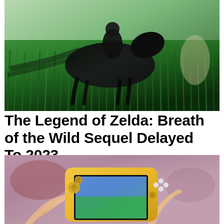[Figure (photo): Screenshot from The Legend of Zelda: Breath of the Wild sequel showing a character riding a dark horse at speed through lush green grass]
The Legend of Zelda: Breath of the Wild Sequel Delayed To 2023
[Figure (photo): Photo of hands holding a yellow Nintendo Switch Lite handheld gaming console displaying a game on screen, with a blurred pink/purple background]